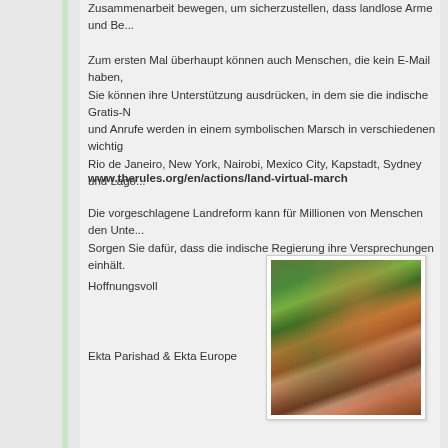Zusammenarbeit bewegen, um sicherzustellen, dass landlose Arme und Be...
Zum ersten Mal überhaupt können auch Menschen, die kein E-Mail haben, Sie können ihre Unterstützung ausdrücken, in dem sie die indische Gratis-N und Anrufe werden in einem symbolischen Marsch in verschiedenen wichtig Rio de Janeiro, New York, Nairobi, Mexico City, Kapstadt, Sydney und Lago
www.therules.org/en/actions/land-virtual-march
Die vorgeschlagene Landreform kann für Millionen von Menschen den Unte... Sorgen Sie dafür, dass die indische Regierung ihre Versprechungen einhält.
Hoffnungsvoll
Ekta Parishad & Ekta Europe
[Figure (photo): A woman in a green sari with red bangles raises her fist in a crowd of protesters]